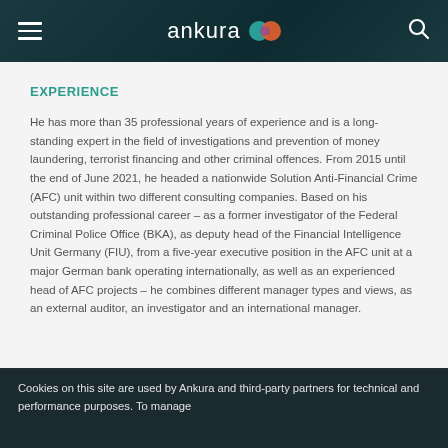ankura
EXPERIENCE
He has more than 35 professional years of experience and is a long-standing expert in the field of investigations and prevention of money laundering, terrorist financing and other criminal offences. From 2015 until the end of June 2021, he headed a nationwide Solution Anti-Financial Crime (AFC) unit within two different consulting companies. Based on his outstanding professional career – as a former investigator of the Federal Criminal Police Office (BKA), as deputy head of the Financial Intelligence Unit Germany (FIU), from a five-year executive position in the AFC unit at a major German bank operating internationally, as well as an experienced head of AFC projects – he combines different manager types and views, as an external auditor, an investigator and an international manager.
Cookies on this site are used by Ankura and third-party partners for technical and performance purposes. To manage